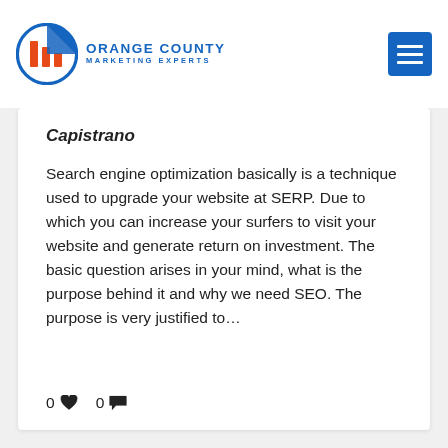Orange County Marketing Experts
Capistrano
Search engine optimization basically is a technique used to upgrade your website at SERP. Due to which you can increase your surfers to visit your website and generate return on investment. The basic question arises in your mind, what is the purpose behind it and why we need SEO. The purpose is very justified to…
0 ♥  0 💬